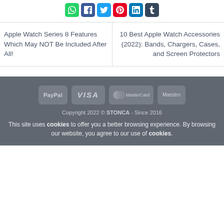[Figure (other): Row of social share buttons: WhatsApp, Facebook, Twitter, Pinterest, LinkedIn, Tumblr]
Apple Watch Series 8 Features Which May NOT Be Included After All!
10 Best Apple Watch Accessories (2022): Bands, Chargers, Cases, and Screen Protectors
[Figure (other): Payment method logos: PayPal, VISA, MasterCard, Maestro]
Copyright 2022 © STONCA - Since 2016
This site uses cookies to offer you a better browsing experience. By browsing our website, you agree to our use of cookies.